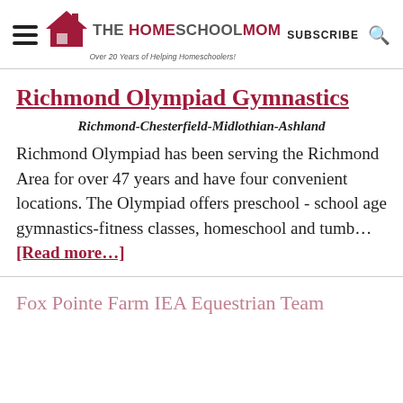THE HOME SCHOOL MOM — Over 20 Years of Helping Homeschoolers! — SUBSCRIBE
Richmond Olympiad Gymnastics
Richmond-Chesterfield-Midlothian-Ashland
Richmond Olympiad has been serving the Richmond Area for over 47 years and have four convenient locations. The Olympiad offers preschool - school age gymnastics-fitness classes, homeschool and tumb... [Read more...]
Fox Pointe Farm IEA Equestrian Team